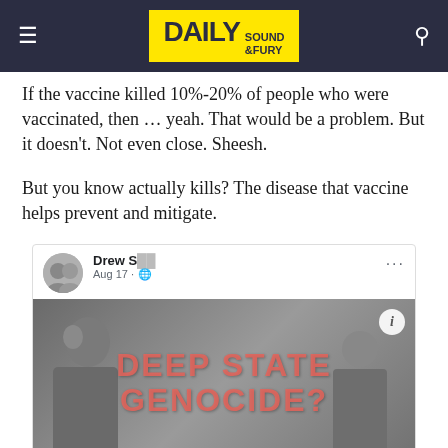Daily Sound & Fury
If the vaccine killed 10%-20% of people who were vaccinated, then … yeah. That would be a problem. But it doesn't. Not even close. Sheesh.
But you know actually kills? The disease that vaccine helps prevent and mitigate.
[Figure (screenshot): Facebook post by Drew S., dated Aug 17 with globe icon, showing a shared image with text 'DEEP STATE GENOCIDE?' overlaid in large pink/red letters on a dark background featuring two men, with an info button in the top right corner.]